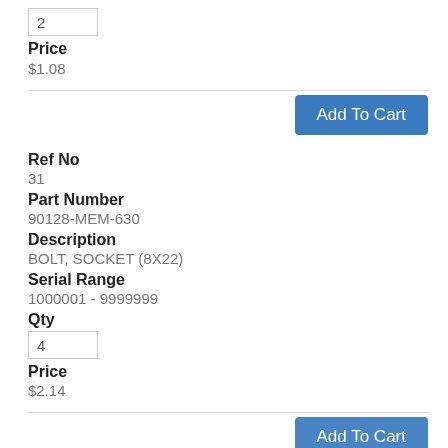2
Price
$1.08
Add To Cart
Ref No
31
Part Number
90128-MEM-630
Description
BOLT, SOCKET (8X22)
Serial Range
1000001 - 9999999
Qty
4
Price
$2.14
Add To Cart